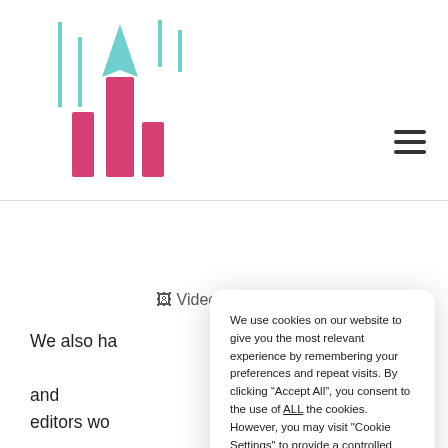[Figure (logo): GotCrisp logo with teal rocket/arrow shapes and pink bar graph bars on left, abstract bar chart icon]
[Figure (other): Hamburger menu icon (three horizontal lines) in top right]
Video Marketing
We also ha and editors wo means we can pr e videos in 4K. We product promotion s. Due to our backg A sessions a case study or p ays have someone from the GotCrisp team on hand who is
We use cookies on our website to give you the most relevant experience by remembering your preferences and repeat visits. By clicking “Accept All”, you consent to the use of ALL the cookies. However, you may visit "Cookie Settings" to provide a controlled consent.